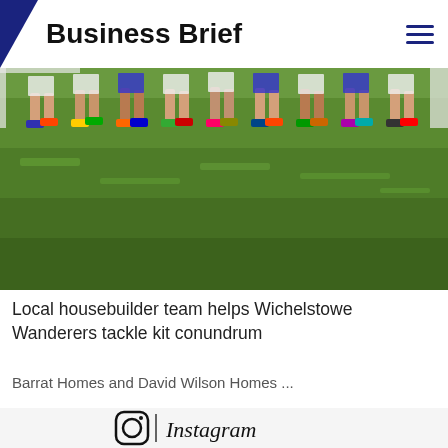Business Brief
[Figure (photo): Group photo of youth football team standing in a row on a grass pitch, showing their feet and lower legs with colorful boots]
Local housebuilder team helps Wichelstowe Wanderers tackle kit conundrum
Barrat Homes and David Wilson Homes ...
[Figure (logo): Instagram logo with camera icon and the word Instagram in script font]
[Figure (photo): Partial view of a circular blue object at the bottom of the page]